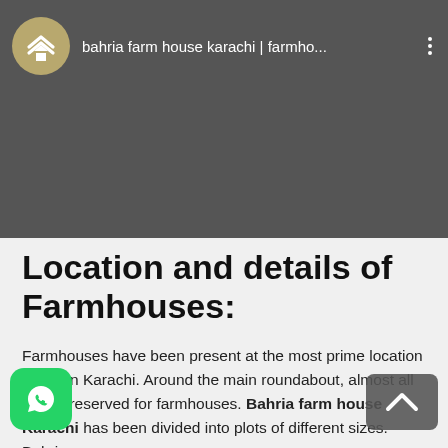[Figure (screenshot): Dark gray video embed thumbnail with a circular logo icon (Bahria Town logo in beige/gold) on the left, title text 'bahria farm house karachi | farmho...' in white, and a three-dots menu icon on the right. The main body of the video is dark gray.]
Location and details of Farmhouses:
Farmhouses have been present at the most prime location in Town Karachi. Around the main roundabout, almost all as are reserved for farmhouses. Bahria farm house Karachi has been divided into plots of different sizes. Bahria